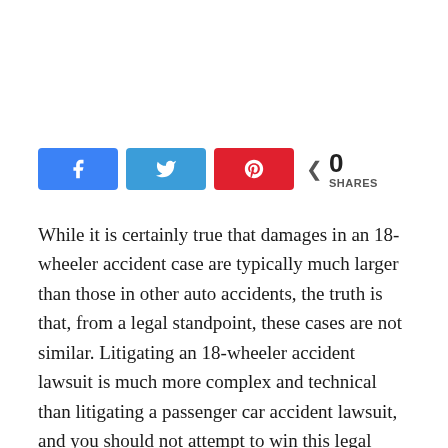[Figure (other): Social sharing buttons: Facebook (blue), Twitter (light blue), Pinterest (red), and a share count showing 0 SHARES]
While it is certainly true that damages in an 18-wheeler accident case are typically much larger than those in other auto accidents, the truth is that, from a legal standpoint, these cases are not similar. Litigating an 18-wheeler accident lawsuit is much more complex and technical than litigating a passenger car accident lawsuit, and you should not attempt to win this legal battle alone. Thankfully, there are many attorneys who specialize in 18-wheeler accident claims to help you understand what your options are and how to seek